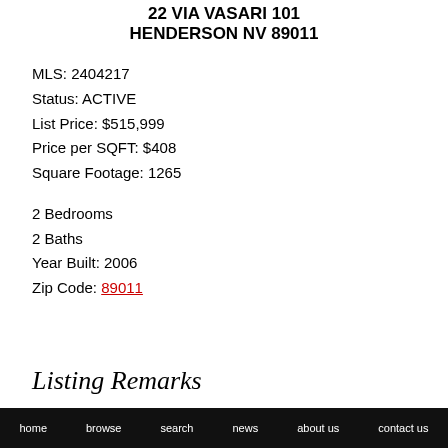22 VIA VASARI 101
HENDERSON NV 89011
MLS: 2404217
Status: ACTIVE
List Price: $515,999
Price per SQFT: $408
Square Footage: 1265
2 Bedrooms
2 Baths
Year Built: 2006
Zip Code: 89011
Listing Remarks
home   browse   search   news   about us   contact us